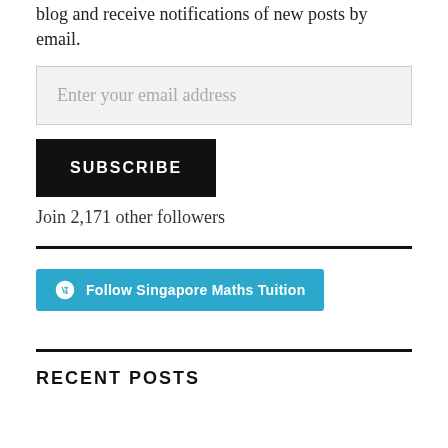blog and receive notifications of new posts by email.
[Figure (other): Email address input field with placeholder text 'Enter your email address']
[Figure (other): Black SUBSCRIBE button]
Join 2,171 other followers
[Figure (other): Horizontal black divider line]
[Figure (other): Cyan 'Follow Singapore Maths Tuition' button with WordPress icon]
[Figure (other): Horizontal black divider line]
RECENT POSTS